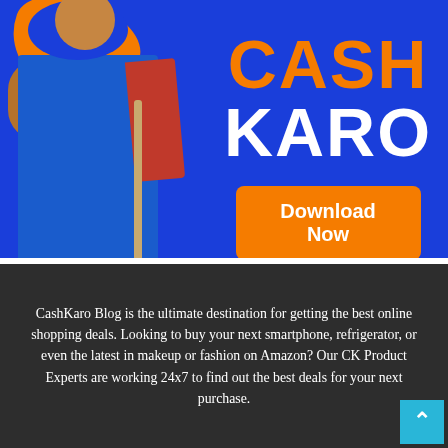[Figure (illustration): CashKaro promotional banner ad with blue background, a person in blue Indian attire with an orange scarf on the left, and the text 'CASH KARO' in large letters (CASH in orange, KARO in white) on the right, with an orange 'Download Now' button below.]
CashKaro Blog is the ultimate destination for getting the best online shopping deals. Looking to buy your next smartphone, refrigerator, or even the latest in makeup or fashion on Amazon? Our CK Product Experts are working 24x7 to find out the best deals for your next purchase.